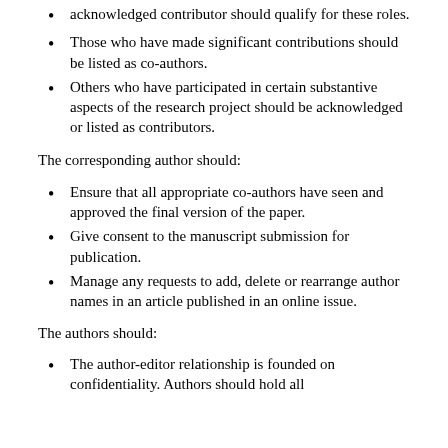acknowledged contributor should qualify for these roles.
Those who have made significant contributions should be listed as co-authors.
Others who have participated in certain substantive aspects of the research project should be acknowledged or listed as contributors.
The corresponding author should:
Ensure that all appropriate co-authors have seen and approved the final version of the paper.
Give consent to the manuscript submission for publication.
Manage any requests to add, delete or rearrange author names in an article published in an online issue.
The authors should:
The author-editor relationship is founded on confidentiality. Authors should hold all